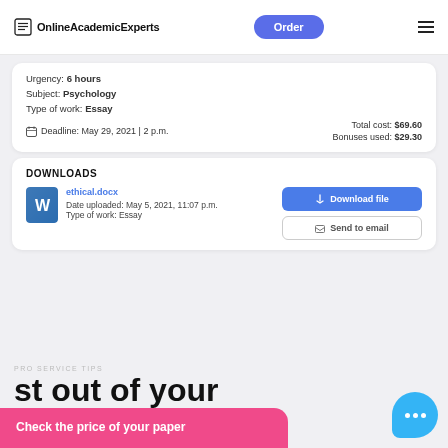OnlineAcademicExperts | Order
Urgency: 6 hours
Subject: Psychology
Type of work: Essay
Deadline: May 29, 2021 | 2 p.m.
Total cost: $69.60
Bonuses used: $29.30
DOWNLOADS
ethical.docx
Date uploaded: May 5, 2021, 11:07 p.m.
Type of work: Essay
Download file | Send to email
PRO SERVICE TIPS
st out of your
Check the price of your paper